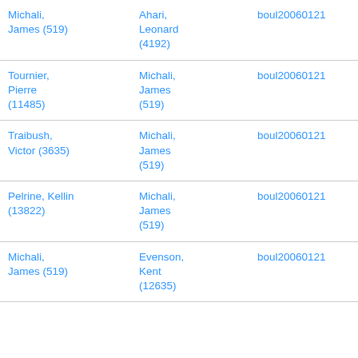| Michali, James (519) | Ahari, Leonard (4192) | boul20060121 |
| Tournier, Pierre (11485) | Michali, James (519) | boul20060121 |
| Traibush, Victor (3635) | Michali, James (519) | boul20060121 |
| Pelrine, Kellin (13822) | Michali, James (519) | boul20060121 |
| Michali, James (519) | Evenson, Kent (12635) | boul20060121 |